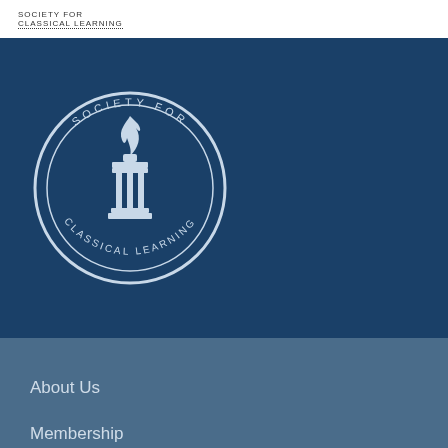SOCIETY FOR CLASSICAL LEARNING
[Figure (logo): Society for Classical Learning circular seal/logo with torch and columns inside a circle with text around the border reading SOCIETY FOR CLASSICAL LEARNING]
About Us
Membership